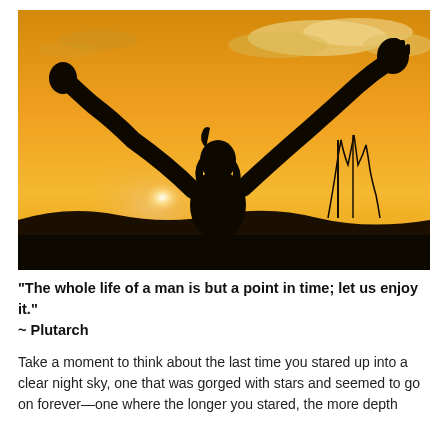[Figure (photo): Silhouette of a person with arms raised wide against a dramatic orange and golden sunset sky with clouds, trees silhouetted in the background.]
“The whole life of a man is but a point in time; let us enjoy it.” ~ Plutarch
Take a moment to think about the last time you stared up into a clear night sky, one that was gorged with stars and seemed to go on forever—one where the longer you stared, the more depth